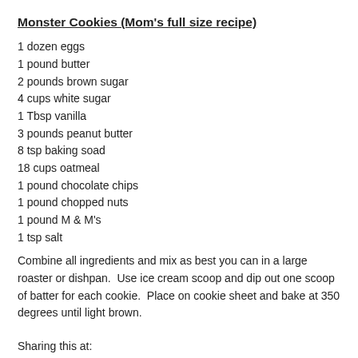Monster Cookies (Mom's full size recipe)
1 dozen eggs
1 pound butter
2 pounds brown sugar
4 cups white sugar
1 Tbsp vanilla
3 pounds peanut butter
8 tsp baking soad
18 cups oatmeal
1 pound chocolate chips
1 pound chopped nuts
1 pound M & M's
1 tsp salt
Combine all ingredients and mix as best you can in a large roaster or dishpan.  Use ice cream scoop and dip out one scoop of batter for each cookie.  Place on cookie sheet and bake at 350 degrees until light brown.
Sharing this at: